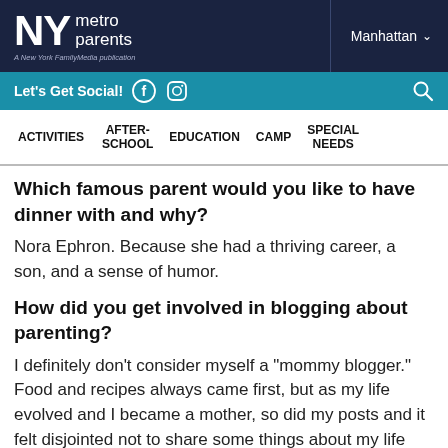NY metro parents — A New York Family Media publication — Manhattan
Let's Get Social!
ACTIVITIES   AFTER-SCHOOL   EDUCATION   CAMP   SPECIAL NEEDS
Which famous parent would you like to have dinner with and why?
Nora Ephron. Because she had a thriving career, a son, and a sense of humor.
How did you get involved in blogging about parenting?
I definitely don't consider myself a "mommy blogger." Food and recipes always came first, but as my life evolved and I became a mother, so did my posts and it felt disjointed not to share some things about my life